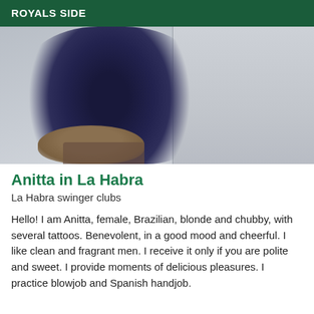ROYALS SIDE
[Figure (photo): A dark photograph showing what appears to be a person in dark clothing, partially visible, against a light gray background.]
Anitta in La Habra
La Habra swinger clubs
Hello! I am Anitta, female, Brazilian, blonde and chubby, with several tattoos. Benevolent, in a good mood and cheerful. I like clean and fragrant men. I receive it only if you are polite and sweet. I provide moments of delicious pleasures. I practice blowjob and Spanish handjob.